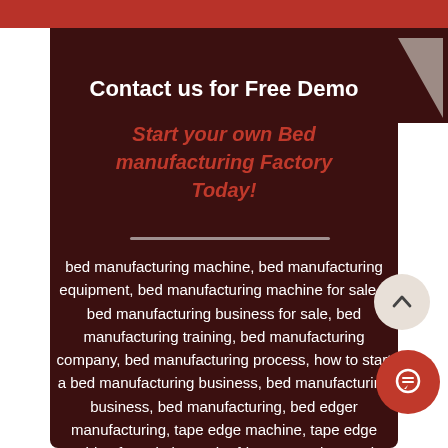Contact us for Free Demo
Start your own Bed manufacturing Factory Today!
bed manufacturing machine, bed manufacturing equipment, bed manufacturing machine for sale, , bed manufacturing business for sale, bed manufacturing training, bed manufacturing company, bed manufacturing process, how to start a bed manufacturing business, bed manufacturing business, bed manufacturing, bed edger manufacturing, tape edge machine, tape edge machine for sale in south africa, tape edge sewing machine, edge machine for sale, tape edge